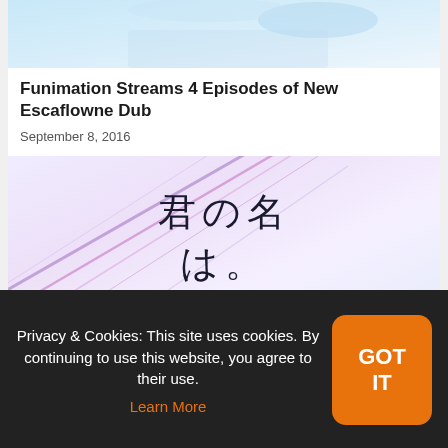[Figure (illustration): Top portion of an anime illustration showing characters against a light blue background, partially cropped]
Funimation Streams 4 Episodes of New Escaflowne Dub
September 8, 2016
[Figure (illustration): Movie poster for 'Your Name' (Kimi no Na wa) featuring Japanese kanji text '君の名は。' and subtitle 'your name.' on a pastel gradient background with diagonal colored lines]
Privacy & Cookies: This site uses cookies. By continuing to use this website, you agree to their use. Learn More